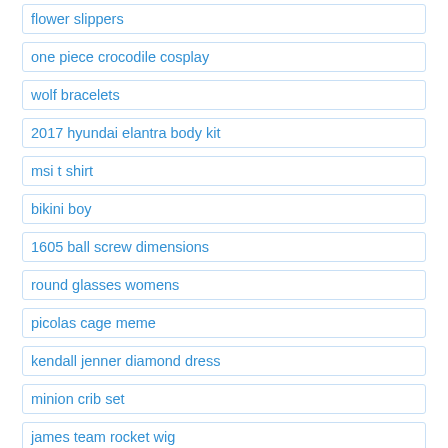flower slippers
one piece crocodile cosplay
wolf bracelets
2017 hyundai elantra body kit
msi t shirt
bikini boy
1605 ball screw dimensions
round glasses womens
picolas cage meme
kendall jenner diamond dress
minion crib set
james team rocket wig